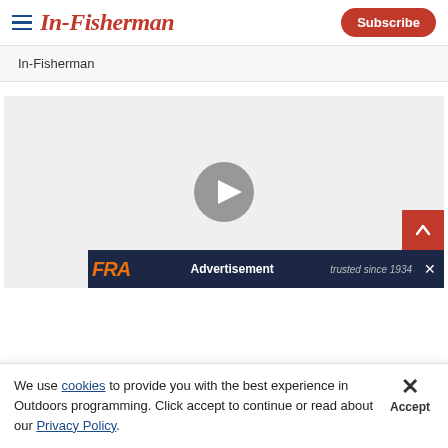In-Fisherman | Subscribe
In-Fisherman
[Figure (screenshot): Video player placeholder with gray background and a gray circular play button in the center. An advertisement banner is overlaid at the bottom showing 'FRA' in orange italic text, 'Advertisement' in white centered text, and 'trusted since 1934' in gray italic text with a close X button.]
We use cookies to provide you with the best experience in Outdoors programming. Click accept to continue or read about our Privacy Policy.